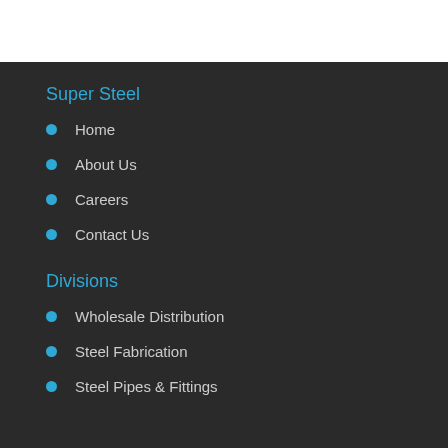Super Steel
Home
About Us
Careers
Contact Us
Divisions
Wholesale Distribution
Steel Fabrication
Steel Pipes & Fittings